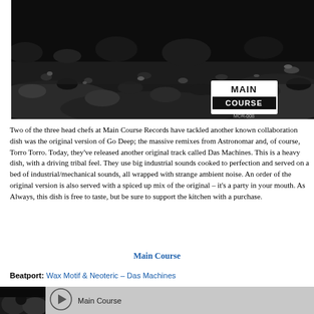[Figure (photo): Black and white rocky lunar/terrain surface photo with 'MAIN COURSE' logo and text 'MCR-008' overlaid in lower right]
Two of the three head chefs at Main Course Records have tackled another collaboration dish. Their first known collaboration dish was the original version of Go Deep; the massive track that came with remixes from Astronomar and, of course, Torro Torro. Today, they've released another original track called Das Machines. This is a heavy dish, with a driving tribal feel. They use big industrial sounds cooked to perfection and served on a bed of industrial/mechanical sounds, all wrapped with strange ambient noise. An order of the original version is also served with a spiced up mix of the original – it's a party in your mouth. As Always, this dish is free to taste, but be sure to support the kitchen with a purchase.
Main Course
Beatport: Wax Motif & Neoteric – Das Machines
[Figure (screenshot): Beatport player bar with thumbnail image, play button icon, and 'Main Course' label]